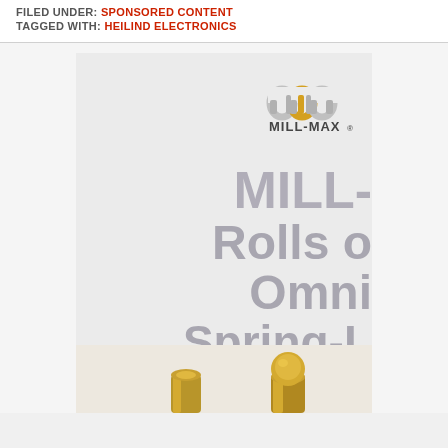FILED UNDER: SPONSORED CONTENT
TAGGED WITH: HEILIND ELECTRONICS
[Figure (illustration): Mill-Max advertisement showing the Mill-Max logo at top right and large bold gray text reading 'MILL-' / 'Rolls o' / 'Omni' / 'Spring-L' / 'Cont' partially cropped, on a light gray background, with a photo strip below showing golden spring-loaded contact pins.]